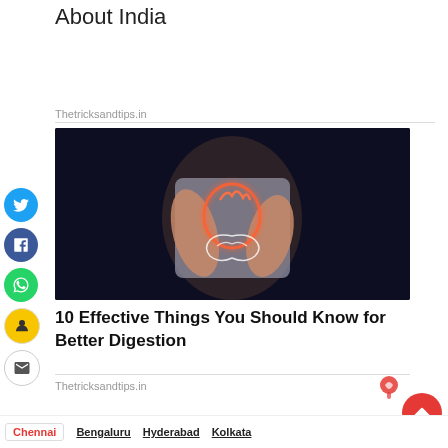About India
Thetricksandtips.in
[Figure (photo): Person holding abdomen with glowing anatomical illustration of stomach and digestive organs overlaid on dark background]
10 Effective Things You Should Know for Better Digestion
Thetricksandtips.in
Chennai   Bengaluru   Hyderabad   Kolkata